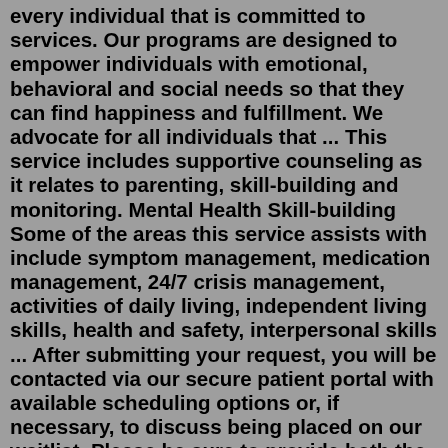every individual that is committed to services. Our programs are designed to empower individuals with emotional, behavioral and social needs so that they can find happiness and fulfillment. We advocate for all individuals that ... This service includes supportive counseling as it relates to parenting, skill-building and monitoring. Mental Health Skill-building Some of the areas this service assists with include symptom management, medication management, 24/7 crisis management, activities of daily living, independent living skills, health and safety, interpersonal skills ... After submitting your request, you will be contacted via our secure patient portal with available scheduling options or, if necessary, to discuss being placed on our waitlist. Please be sure to provide both the insurance type and accurate member ID or indicate if you plan to self pay.Find GHI Therapists, Psychologists and GHI Counseling in Richmond, Richmond City County, Virginia, get help for GHI in Richmond, get help with Group Health Incorporated in Richmond. AccessHealth Awarded Patient-